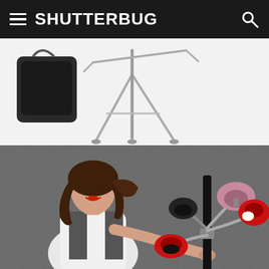SHUTTERBUG
[Figure (photo): Photography equipment — light stand with black carry bag on a metal tripod stand, shown against white background]
[Figure (photo): Woman with brown hair holding a multi-head lamp stand with red and pink lamp shades, posing in front of a grey textured backdrop]